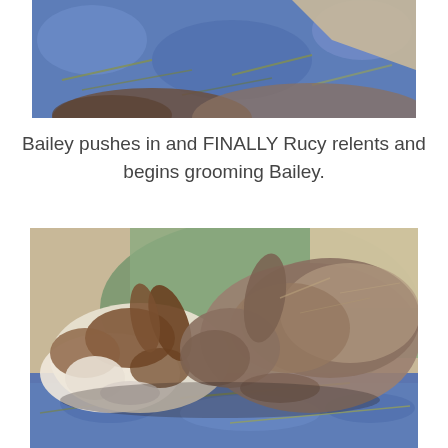[Figure (photo): Top portion of a photo showing two rabbits on a blue patterned blanket, cropped at the top of the page]
Bailey pushes in and FINALLY Rucy relents and begins grooming Bailey.
[Figure (photo): Two rabbits grooming each other on a blue patterned blanket with a green cushion in the background. One rabbit is white with brown markings, the other is a fluffy brown/grey rabbit.]